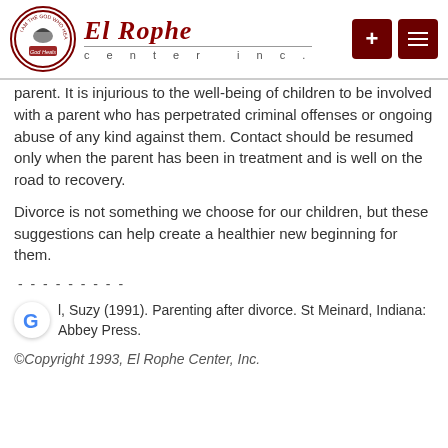[Figure (logo): El Rophe Center Inc. logo with circular emblem reading 'God Heals' and red cursive brand name with navigation buttons]
parent. It is injurious to the well-being of children to be involved with a parent who has perpetrated criminal offenses or ongoing abuse of any kind against them. Contact should be resumed only when the parent has been in treatment and is well on the road to recovery.
Divorce is not something we choose for our children, but these suggestions can help create a healthier new beginning for them.
---------
l, Suzy (1991). Parenting after divorce. St Meinard, Indiana: Abbey Press.
©Copyright 1993, El Rophe Center, Inc.